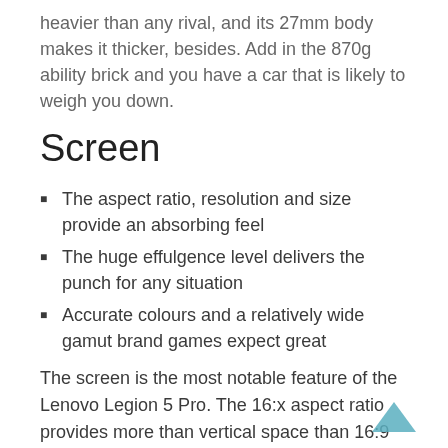heavier than any rival, and its 27mm body makes it thicker, besides. Add in the 870g ability brick and you have a car that is likely to weigh you down.
Screen
The aspect ratio, resolution and size provide an absorbing feel
The huge effulgence level delivers the punch for any situation
Accurate colours and a relatively wide gamut brand games expect great
The screen is the most notable feature of the Lenovo Legion 5 Pro. The 16:x aspect ratio provides more than vertical space than 16:9 laptops, and that means you can fit more of your game onto the panel. It also makes it